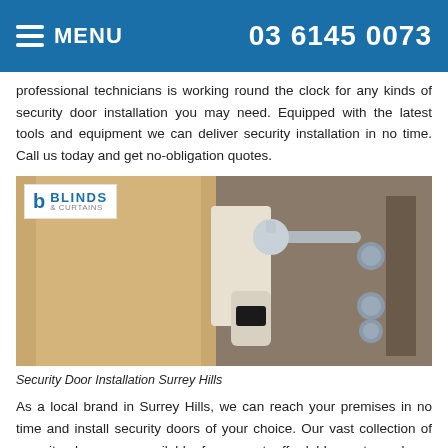MENU  03 6145 0073
professional technicians is working round the clock for any kinds of security door installation you may need. Equipped with the latest tools and equipment we can deliver security installation in no time. Call us today and get no-obligation quotes.
[Figure (photo): Close-up photo of a modern security door handle and lock mechanism on a wooden door, with a Blinds & Curtains logo overlay in the top-left corner.]
Security Door Installation Surrey Hills
As a local brand in Surrey Hills, we can reach your premises in no time and install security doors of your choice. Our vast collection of security doors are available for you at affordable costs and our installation service is unique and effective. Our skilled professionals will install security doors on your home or office very fast. Now save your time and